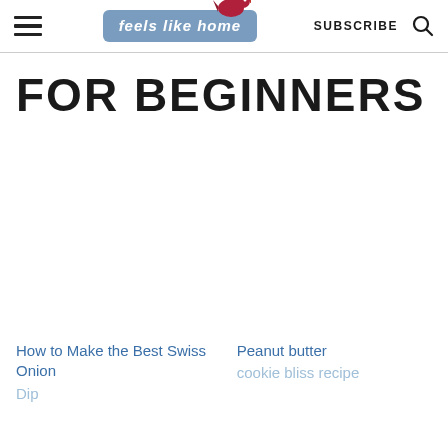feels like home — SUBSCRIBE
FOR BEGINNERS
How to Make the Best Swiss Onion Dip
Peanut butter cookie bliss recipe